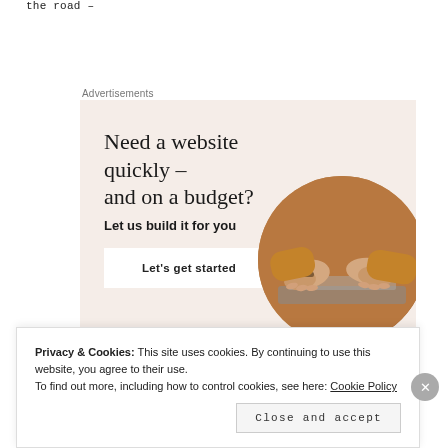the road –
Advertisements
[Figure (illustration): Advertisement banner with beige/cream background. Large serif headline reads 'Need a website quickly – and on a budget?' with subtext 'Let us build it for you' and a button 'Let's get started'. Right side has a circular cropped photo of hands typing on a laptop.]
Privacy & Cookies: This site uses cookies. By continuing to use this website, you agree to their use.
To find out more, including how to control cookies, see here: Cookie Policy
Close and accept